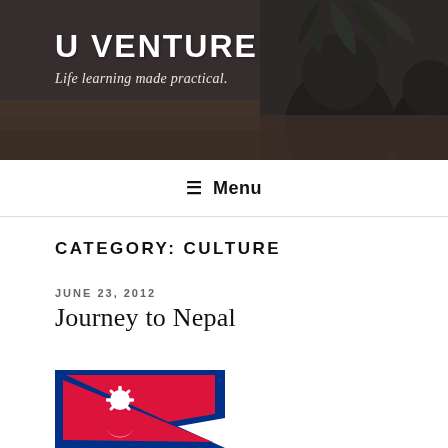U VENTURE
Life learning made practical.
≡ Menu
CATEGORY: CULTURE
JUNE 23, 2012
Journey to Nepal
[Figure (photo): Nepal flag showing double pennon with blue border, red background with white moon and sun symbols]